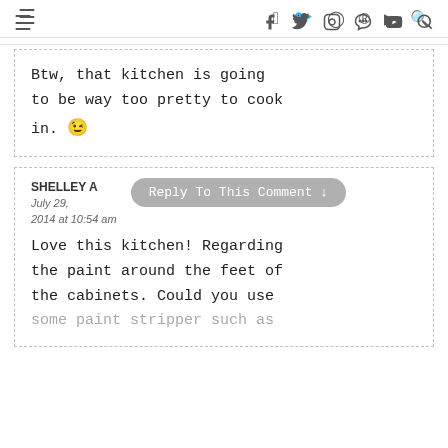≡  f  𝕏  ○  ®  ▶  🔍
Btw, that kitchen is going to be way too pretty to cook in. 😉
SHELLEY A  Reply To This Comment ↓  July 29, 2014 at 10:54 am
Love this kitchen! Regarding the paint around the feet of the cabinets. Could you use some paint stripper such as